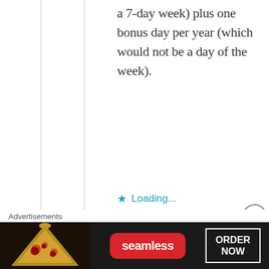a 7-day week) plus one bonus day per year (which would not be a day of the week).
Loading...
Reply
sai
nt
Advertisements
[Figure (other): Seamless food delivery advertisement banner showing pizza slices on dark background with red Seamless logo pill and ORDER NOW button in white border box]